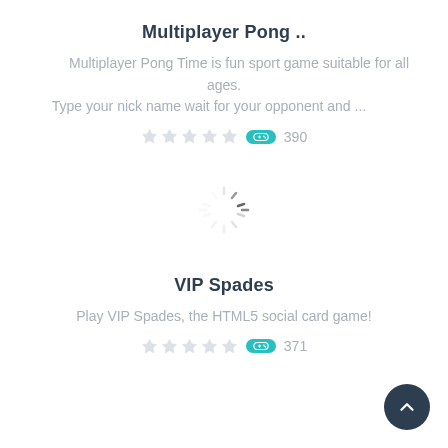Multiplayer Pong ..
Multiplayer Pong Time is fun sport game suitable for all ages. Type your nick name wait for your opponent and ...
390
[Figure (other): Loading spinner animation]
VIP Spades
Play VIP Spades, the HTML5 social card game!
371